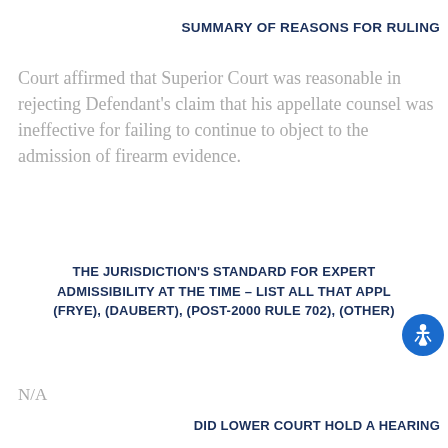SUMMARY OF REASONS FOR RULING
Court affirmed that Superior Court was reasonable in rejecting Defendant's claim that his appellate counsel was ineffective for failing to continue to object to the admission of firearm evidence.
THE JURISDICTION'S STANDARD FOR EXPERT ADMISSIBILITY AT THE TIME – LIST ALL THAT APPLY: (FRYE), (DAUBERT), (POST-2000 RULE 702), (OTHER)
N/A
DID LOWER COURT HOLD A HEARING
Y
NAMES OF PROSECUTION EXPERT(S) TWO TESTIFIED AT HEARING